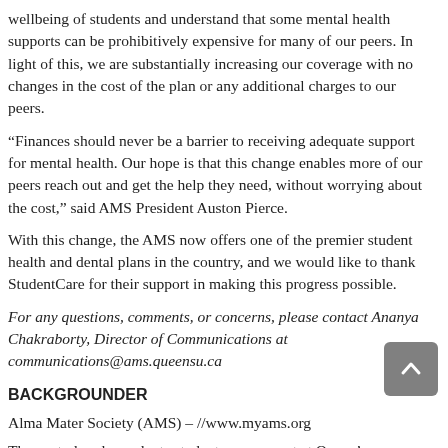wellbeing of students and understand that some mental health supports can be prohibitively expensive for many of our peers. In light of this, we are substantially increasing our coverage with no changes in the cost of the plan or any additional charges to our peers.
“Finances should never be a barrier to receiving adequate support for mental health. Our hope is that this change enables more of our peers reach out and get the help they need, without worrying about the cost,” said AMS President Auston Pierce.
With this change, the AMS now offers one of the premier student health and dental plans in the country, and we would like to thank StudentCare for their support in making this progress possible.
For any questions, comments, or concerns, please contact Ananya Chakraborty, Director of Communications at communications@ams.queensu.ca
BACKGROUNDER
Alma Mater Society (AMS) – //www.myams.org
The central undergraduate student government at Queen’s University, the AMS represents over 15,000 students and is the